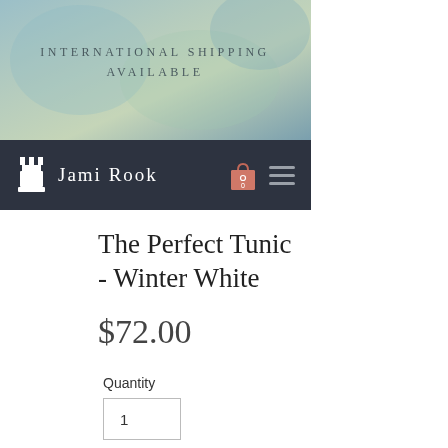[Figure (screenshot): Hero banner with soft blue-green watercolor background and text 'INTERNATIONAL SHIPPING AVAILABLE' in spaced uppercase serif letters]
Jami Rook
The Perfect Tunic - Winter White
$72.00
Quantity
1
Add to Cart
THE PERFECT TUNIC - WINTER WHITE